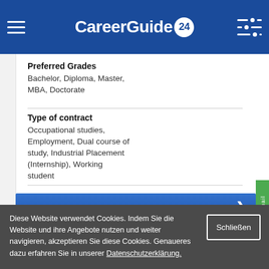[Figure (logo): CareerGuide24 website header with logo, hamburger menu, and filter icon on dark blue background]
Preferred Grades
Bachelor, Diploma, Master, MBA, Doctorate
Type of contract
Occupational studies, Employment, Dual course of study, Industrial Placement (Internship), Working student
Career area
Current job offers
Diese Website verwendet Cookies. Indem Sie die Website und ihre Angebote nutzen und weiter navigieren, akzeptieren Sie diese Cookies. Genaueres dazu erfahren Sie in unserer Datenschutzerklärung.
Schließen